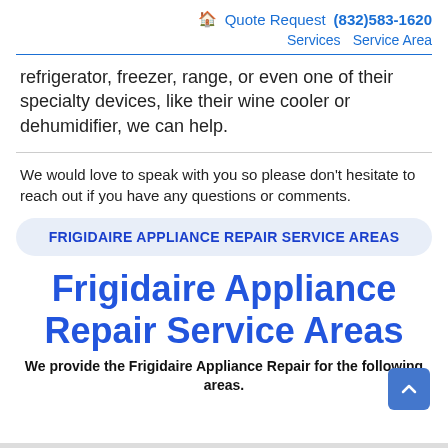🏠 Quote Request (832)583-1620 Services Service Area
refrigerator, freezer, range, or even one of their specialty devices, like their wine cooler or dehumidifier, we can help.
We would love to speak with you so please don't hesitate to reach out if you have any questions or comments.
FRIGIDAIRE APPLIANCE REPAIR SERVICE AREAS
Frigidaire Appliance Repair Service Areas
We provide the Frigidaire Appliance Repair for the following areas.